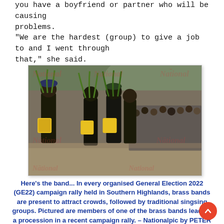you have a boyfriend or partner who will be causing problems. "We are the hardest (group) to give a job to and I went through that," she said.
[Figure (photo): A procession of traditional performers with bodies painted black, wearing grass and carrying yellow containers, leading a crowd at a campaign rally in Southern Highlands, Papua New Guinea. The image carries 'National' watermarks.]
Here's the band... In every organised General Election 2022 (GE22) campaign rally held in Southern Highlands, brass bands are present to attract crowds, followed by traditional singsing groups. Pictured are members of one of the brass bands leading a procession in a recent campaign rally. – Nationalpic by PETER WARI